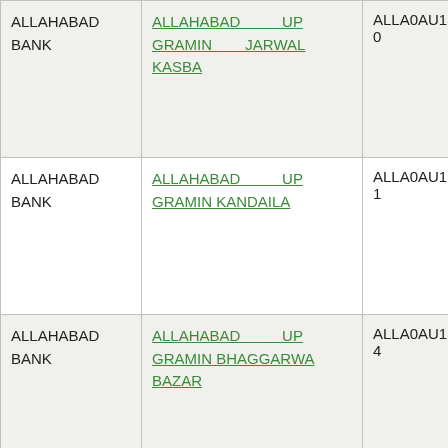| Bank | Branch | IFSC | Phone |
| --- | --- | --- | --- |
| ALLAHABAD BANK | ALLAHABAD UP GRAMIN JARWAL KASBA | ALLA0AU1380 | 27169956 |
| ALLAHABAD BANK | ALLAHABAD UP GRAMIN KANDAILA | ALLA0AU1381 | 27169956 |
| ALLAHABAD BANK | ALLAHABAD UP GRAMIN BHAGGARWA BAZAR | ALLA0AU1384 | 27169954 |
| ALLAHABAD BANK | ALLAHABAD UP GRAMIN KUTTI PREMDAS | ALLA0AU1385 | 27169958 |
| ALLAHABAD BANK | ALLAHABAD UP GRAMIN BEGAM PUR | ALLA0AU1386 | 27169900 |
| ALLAHABAD BANK | ALLAHABAD UP GRAMIN ITAHA(BASTHANWA) | ALLA0AU1388 | 27169951 |